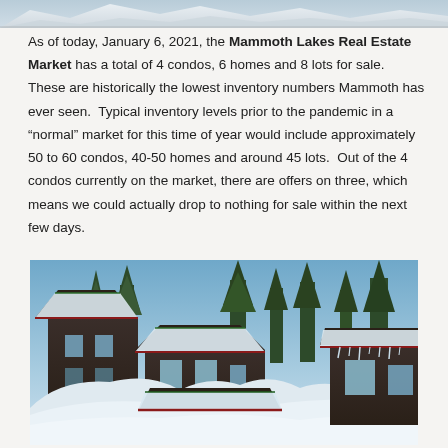[Figure (photo): Partial top strip of a snowy mountain scene photo, cropped at top of page]
As of today, January 6, 2021, the Mammoth Lakes Real Estate Market has a total of 4 condos, 6 homes and 8 lots for sale.  These are historically the lowest inventory numbers Mammoth has ever seen.  Typical inventory levels prior to the pandemic in a “normal” market for this time of year would include approximately 50 to 60 condos, 40-50 homes and around 45 lots.  Out of the 4 condos currently on the market, there are offers on three, which means we could actually drop to nothing for sale within the next few days.
[Figure (photo): Snowy winter scene of dark brown chalet-style homes heavily loaded with snow on roofs, evergreen trees in background, clear blue sky]